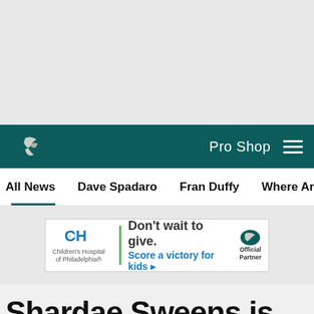[Figure (other): Gray advertisement/placeholder area at the top of the page]
Philadelphia Eagles navigation bar with logo, Pro Shop link, and hamburger menu
All News | Dave Spadaro | Fran Duffy | Where Are They Now? | Pu...
[Figure (other): Children's Hospital of Philadelphia advertisement banner: Don't wait to give. Score a victory for kids. Official Partner.]
Shardae Sweens is the 2022
[Figure (other): Social sharing icons: Facebook, Twitter, Email, Link]